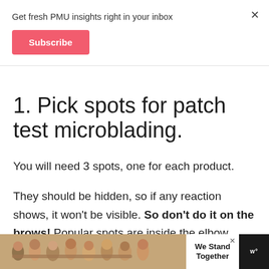Get fresh PMU insights right in your inbox
Subscribe
1. Pick spots for patch test microblading.
You will need 3 spots, one for each product.
They should be hidden, so if any reaction shows, it won't be visible. So don't do it on the brows! Popular spots are inside the elbow crease, or in the hairline behind the ear – behind the ear is better, since the
[Figure (photo): Advertisement banner showing a group of people with arms around each other viewed from behind, with text 'We Stand Together']